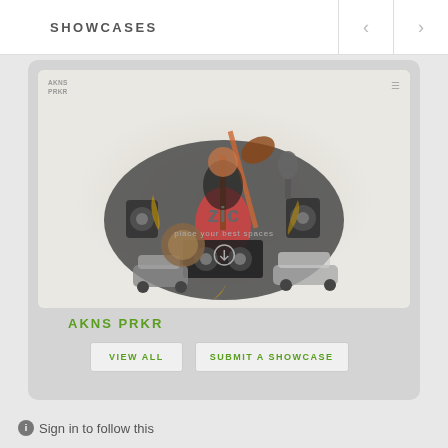SHOWCASES
[Figure (screenshot): Showcase card displaying a music-themed illustration with instruments, speakers, a guitarist, and cars arranged in a collage. Overlay text reads 'zic' with a subtitle and a download icon. Small logo in top-left reads 'AKNS PRKR'.]
AKNS PRKR
VIEW ALL
SUBMIT A SHOWCASE
Sign in to follow this